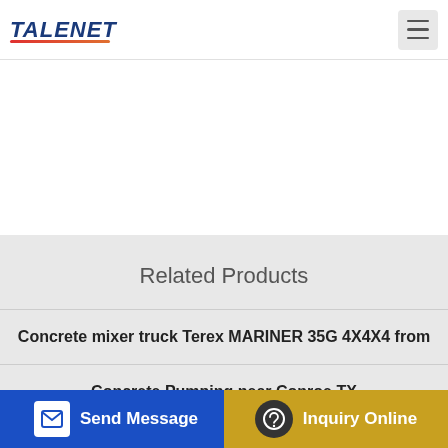TALENET
Related Products
Concrete mixer truck Terex MARINER 35G 4X4X4 from
Concrete Pumping near Conroe TX
ing drum concrete mixer Nig... Concrete Batching Plant... Cost
Send Message | Inquiry Online